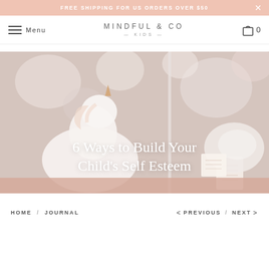FREE SHIPPING FOR US ORDERS OVER $50
MINDFUL & CO KIDS — Menu — 0 (cart)
[Figure (photo): Hero image of a white ceramic unicorn figurine on a blush pink surface with soft floral wallpaper background and a small card. Overlaid with article title text '6 Ways to Build Your Child's Self Esteem'.]
6 Ways to Build Your Child's Self Esteem
HOME / JOURNAL    < PREVIOUS / NEXT >